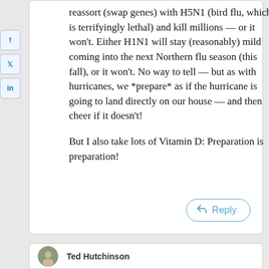reassort (swap genes) with H5N1 (bird flu, which is terrifyingly lethal) and kill millions — or it won't. Either H1N1 will stay (reasonably) mild coming into the next Northern flu season (this fall), or it won't. No way to tell — but as with hurricanes, we *prepare* as if the hurricane is going to land directly on our house — and then cheer if it doesn't!
But I also take lots of Vitamin D: Preparation is preparation!
Ted Hutchinson